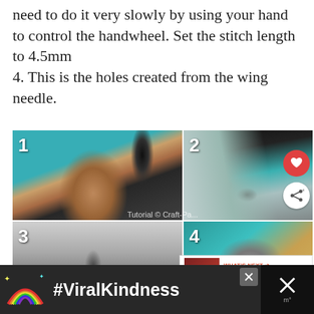need to do it very slowly by using your hand to control the handwheel. Set the stitch length to 4.5mm
4. This is the holes created from the wing needle.
[Figure (photo): Four-panel photo grid showing sewing/craft steps: (1) hand using an awl/needle tool on paper on cutting mat, (2) close-up of a wing needle showing holes, (3) sewing machine presser foot area, (4) close-up detail. Numbered 1-4. Watermark reads 'Tutorial © Craft-Pa...'. Social interaction buttons (heart, share) and 'WHAT'S NEXT' box showing 'Leather Coin Purse - Free...' are overlaid.]
[Figure (screenshot): Ad banner at bottom: dark background with colorful rainbow illustration, hashtag #ViralKindness in white bold text, X close buttons.]